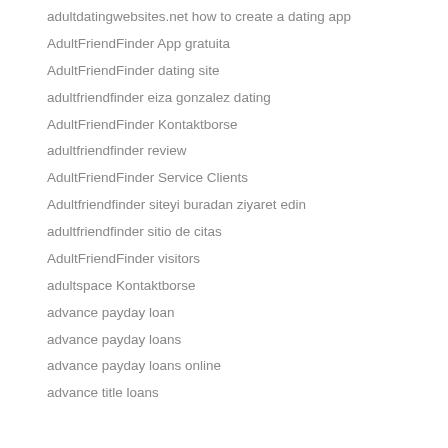adultdatingwebsites.net how to create a dating app
AdultFriendFinder App gratuita
AdultFriendFinder dating site
adultfriendfinder eiza gonzalez dating
AdultFriendFinder Kontaktborse
adultfriendfinder review
AdultFriendFinder Service Clients
Adultfriendfinder siteyi buradan ziyaret edin
adultfriendfinder sitio de citas
AdultFriendFinder visitors
adultspace Kontaktborse
advance payday loan
advance payday loans
advance payday loans online
advance title loans